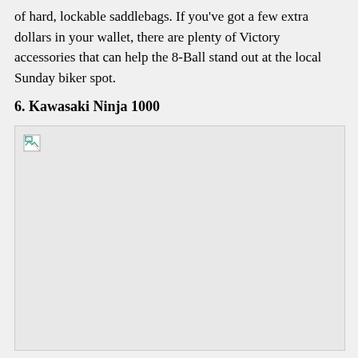of hard, lockable saddlebags. If you've got a few extra dollars in your wallet, there are plenty of Victory accessories that can help the 8-Ball stand out at the local Sunday biker spot.
6. Kawasaki Ninja 1000
[Figure (photo): A broken/unloaded image placeholder for the Kawasaki Ninja 1000 section]